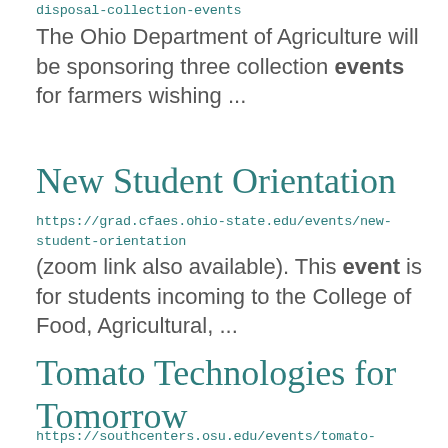disposal-collection-events
The Ohio Department of Agriculture will be sponsoring three collection events for farmers wishing ...
New Student Orientation
https://grad.cfaes.ohio-state.edu/events/new-student-orientation
(zoom link also available). This event is for students incoming to the College of Food, Agricultural, ...
Tomato Technologies for Tomorrow
https://southcenters.osu.edu/events/tomato-technologies-for-tomorrow